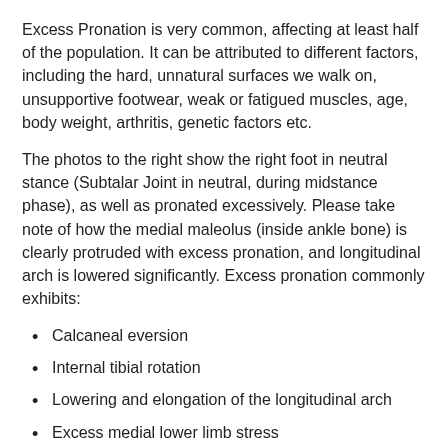Excess Pronation is very common, affecting at least half of the population. It can be attributed to different factors, including the hard, unnatural surfaces we walk on, unsupportive footwear, weak or fatigued muscles, age, body weight, arthritis, genetic factors etc.
The photos to the right show the right foot in neutral stance (Subtalar Joint in neutral, during midstance phase), as well as pronated excessively. Please take note of how the medial maleolus (inside ankle bone) is clearly protruded with excess pronation, and longitudinal arch is lowered significantly. Excess pronation commonly exhibits:
Calcaneal eversion
Internal tibial rotation
Lowering and elongation of the longitudinal arch
Excess medial lower limb stress
Medial plantar displacement of the talus upon the calcaneus
Excess weight bearing over the 1st metatarso-phalangeal joint
NOTE: Practitioners will often examine the patient's shoe wear at